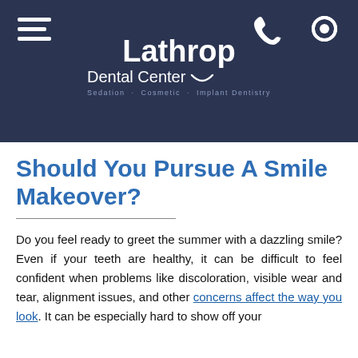[Figure (logo): Lathrop Dental Center logo with hamburger menu, phone icon, and location icon on dark navy background. Logo text: Lathrop Dental Center, Sedation · Cosmetic · Implant Dentistry]
Should You Pursue A Smile Makeover?
Do you feel ready to greet the summer with a dazzling smile? Even if your teeth are healthy, it can be difficult to feel confident when problems like discoloration, visible wear and tear, alignment issues, and other concerns affect the way you look. It can be especially hard to show off your